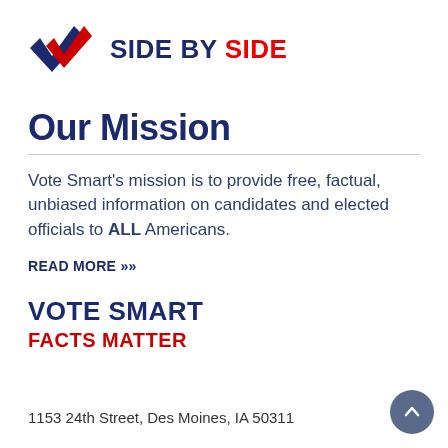[Figure (logo): Side By Side logo: blue and red overlapping checkmarks with text 'SIDE BY SIDE' in bold navy and red]
Our Mission
Vote Smart's mission is to provide free, factual, unbiased information on candidates and elected officials to ALL Americans.
READ MORE >>
VOTE SMART
FACTS MATTER
1153 24th Street, Des Moines, IA 50311